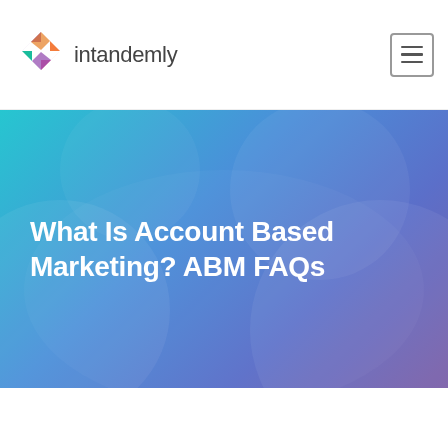intandemly
[Figure (illustration): Intandemly logo with colorful X mark and text 'intandemly' in gray]
What Is Account Based Marketing? ABM FAQs